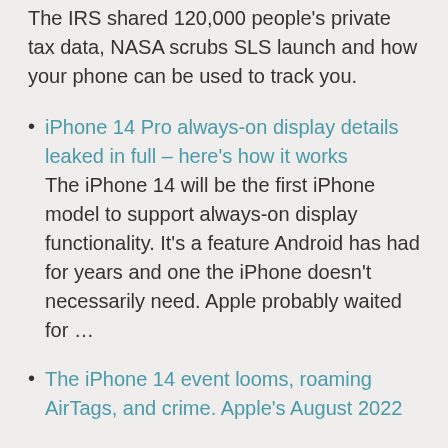The IRS shared 120,000 people's private tax data, NASA scrubs SLS launch and how your phone can be used to track you.
iPhone 14 Pro always-on display details leaked in full – here's how it works
The iPhone 14 will be the first iPhone model to support always-on display functionality. It's a feature Android has had for years and one the iPhone doesn't necessarily need. Apple probably waited for …
The iPhone 14 event looms, roaming AirTags, and crime. Apple's August 2022...